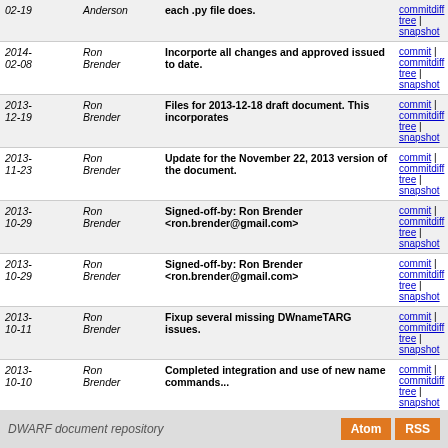| Date | Author | Message | Links |
| --- | --- | --- | --- |
| 2014-02-19 | Anderson | each .py file does. | commit | commitdiff | tree | snapshot |
| 2014-02-08 | Ron Brender | Incorporte all changes and approved issued to date. | commit | commitdiff | tree | snapshot |
| 2013-12-19 | Ron Brender | Files for 2013-12-18 draft document. This incorporates | commit | commitdiff | tree | snapshot |
| 2013-11-23 | Ron Brender | Update for the November 22, 2013 version of the document. | commit | commitdiff | tree | snapshot |
| 2013-10-29 | Ron Brender | Signed-off-by: Ron Brender <ron.brender@gmail.com> | commit | commitdiff | tree | snapshot |
| 2013-10-29 | Ron Brender | Signed-off-by: Ron Brender <ron.brender@gmail.com> | commit | commitdiff | tree | snapshot |
| 2013-10-11 | Ron Brender | Fixup several missing DWnameTARG issues. | commit | commitdiff | tree | snapshot |
| 2013-10-10 | Ron Brender | Completed integration and use of new name commands... | commit | commitdiff | tree | snapshot |
| 2013-10-08 | David Anderson | Two additional typos in dwarfnamecmds.tex fixed. | commit | commitdiff | tree | snapshot |
next
DWARF document repository  Atom  RSS